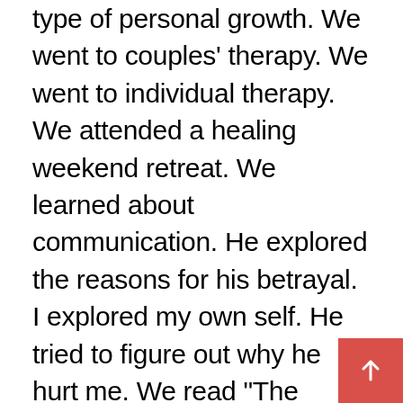type of personal growth. We went to couples' therapy. We went to individual therapy. We attended a healing weekend retreat. We learned about communication. He explored the reasons for his betrayal. I explored my own self. He tried to figure out why he hurt me. We read “The Monogamy Myth” by Peggy Vaughan and “Mating in Captivity” by Esther Perel. He saw my pain, he shared my pain, he grieved over my pain. He worked through his issues and I threw things (okay, that didn’t help). I broke things (ditto). We yelled. We cried. We yelled again. We committed to brutal honesty. We lied. We told the